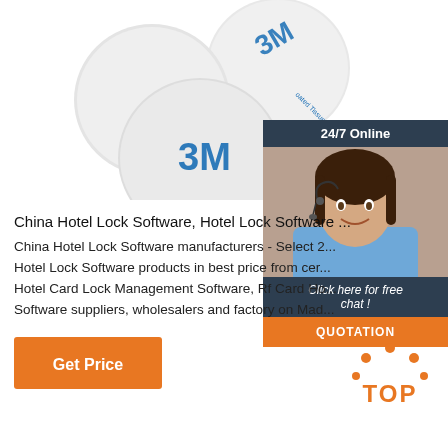[Figure (photo): Three white round NFC coin discs with 3M adhesive tape backing, shown from above on white background]
[Figure (photo): 24/7 Online customer service widget showing a smiling female agent with headset, with 'Click here for free chat!' text and orange QUOTATION button]
China Hotel Lock Software, Hotel Lock Software ...
China Hotel Lock Software manufacturers - Select 2... Hotel Lock Software products in best price from cer... Hotel Card Lock Management Software, Rf Card Ho... Software suppliers, wholesalers and factory on Mad...
[Figure (other): Orange Get Price button]
[Figure (other): TOP badge with orange dots forming an arc above the word TOP in orange]